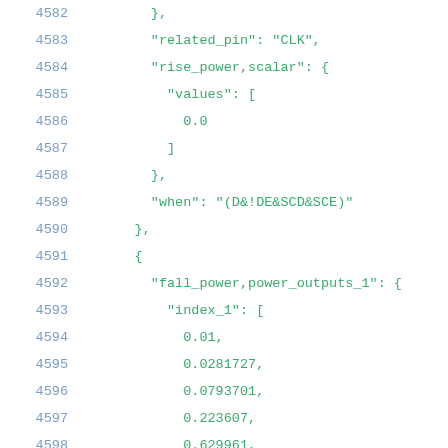4582    },
4583    "related_pin": "CLK",
4584    "rise_power,scalar": {
4585      "values": [
4586        0.0
4587      ]
4588    },
4589    "when": "(D&!DE&SCD&SCE)"
4590  },
4591  {
4592    "fall_power,power_outputs_1": {
4593      "index_1": [
4594        0.01,
4595        0.0281727,
4596        0.0793701,
4597        0.223607,
4598        0.629961,
4599        1.77477,
4600        5
4601      ],
4602    "index_2": [
4603      0.0005